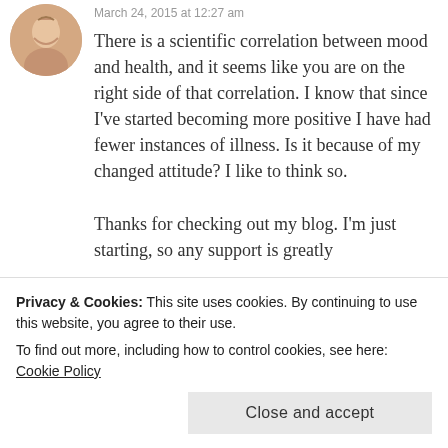[Figure (photo): Circular avatar photo of a smiling person, warm tones]
March 24, 2015 at 12:27 am
There is a scientific correlation between mood and health, and it seems like you are on the right side of that correlation. I know that since I've started becoming more positive I have had fewer instances of illness. Is it because of my changed attitude? I like to think so.

Thanks for checking out my blog. I'm just starting, so any support is greatly appreciated.
Privacy & Cookies: This site uses cookies. By continuing to use this website, you agree to their use.
To find out more, including how to control cookies, see here: Cookie Policy
Close and accept